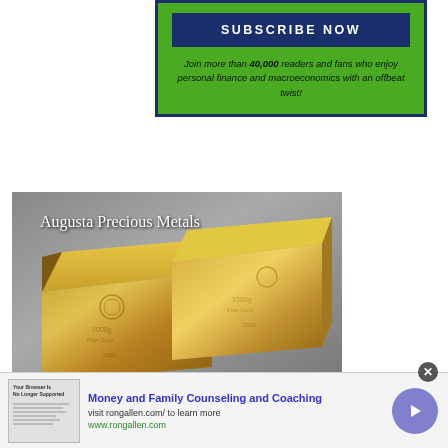[Figure (other): Subscribe Now button with green background and dark navy border. Text reads: Join more than 40,000 readers and fans who enjoy personal finance and macroeconomics with an offbeat twist!]
[Figure (photo): Augusta Precious Metals advertisement showing two gold bars on a gray background with white text reading 'Augusta Precious Metals']
[Figure (infographic): Ad banner at bottom: Money and Family Counseling and Coaching, visit rongallen.com/ to learn more, www.rongallen.com. Has a thumbnail image, text content, and a purple arrow button.]